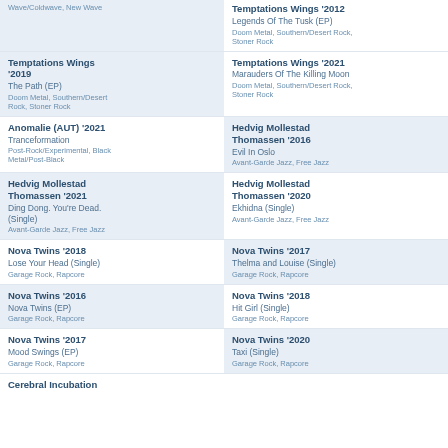Wave/Coldwave, New Wave
TRAITRS '2021 | The Sick, Tired & Ill (EP) | Post-Punk, Dark Wave/Coldwave, New Wave
Temptations Wings '2012 | Legends Of The Tusk (EP) | Doom Metal, Southern/Desert Rock, Stoner Rock
Temptations Wings '2019 | The Path (EP) | Doom Metal, Southern/Desert Rock, Stoner Rock
Temptations Wings '2021 | Marauders Of The Killing Moon | Doom Metal, Southern/Desert Rock, Stoner Rock
Anomalie (AUT) '2021 | Tranceformation | Post-Rock/Experimental, Black Metal/Post-Black
Hedvig Mollestad Thomassen '2016 | Evil In Oslo | Avant-Garde Jazz, Free Jazz
Hedvig Mollestad Thomassen '2021 | Ding Dong. You're Dead. (Single) | Avant-Garde Jazz, Free Jazz
Hedvig Mollestad Thomassen '2020 | Ekhidna (Single) | Avant-Garde Jazz, Free Jazz
Nova Twins '2018 | Lose Your Head (Single) | Garage Rock, Rapcore
Nova Twins '2017 | Thelma and Louise (Single) | Garage Rock, Rapcore
Nova Twins '2016 | Nova Twins (EP) | Garage Rock, Rapcore
Nova Twins '2018 | Hit Girl (Single) | Garage Rock, Rapcore
Nova Twins '2017 | Mood Swings (EP) | Garage Rock, Rapcore
Nova Twins '2020 | Taxi (Single) | Garage Rock, Rapcore
Cerebral Incubation